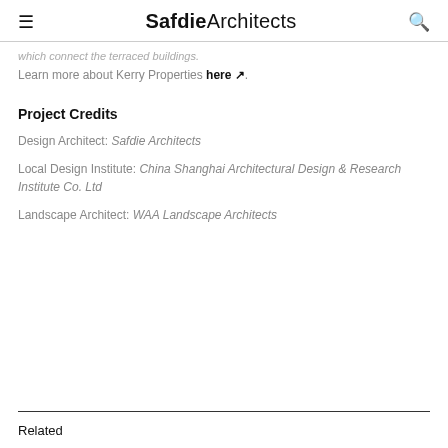Safdie Architects
which connect the terraced buildings.
Learn more about Kerry Properties here ↗.
Project Credits
Design Architect: Safdie Architects
Local Design Institute: China Shanghai Architectural Design & Research Institute Co. Ltd
Landscape Architect: WAA Landscape Architects
Related